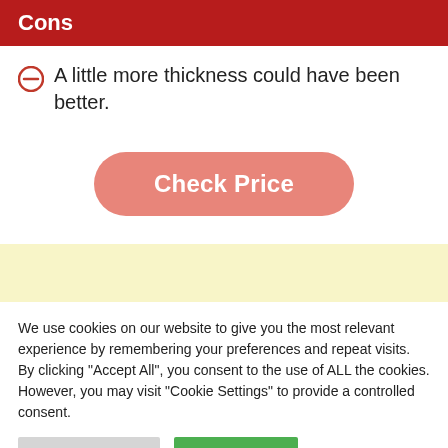Cons
A little more thickness could have been better.
[Figure (other): Check Price button - a pink/salmon rounded rectangle button with white bold text reading 'Check Price']
[Figure (other): Light yellow advertisement banner area]
We use cookies on our website to give you the most relevant experience by remembering your preferences and repeat visits. By clicking "Accept All", you consent to the use of ALL the cookies. However, you may visit "Cookie Settings" to provide a controlled consent.
Cookie Settings | Accept All